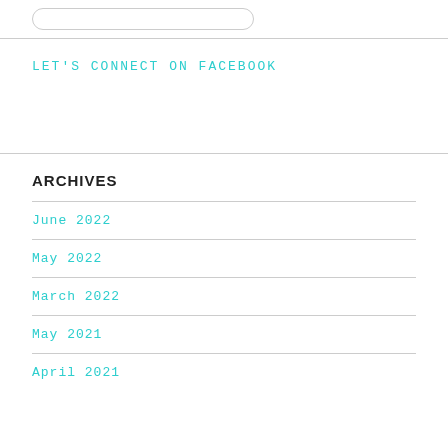LET'S CONNECT ON FACEBOOK
ARCHIVES
June 2022
May 2022
March 2022
May 2021
April 2021